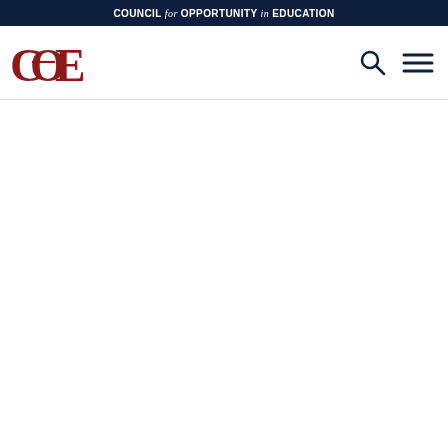COUNCIL for OPPORTUNITY in EDUCATION
[Figure (logo): COE (Council for Opportunity in Education) logo — stylized red letters C, O, E]
[Figure (other): Search icon (magnifying glass) and hamburger menu icon in navy blue]